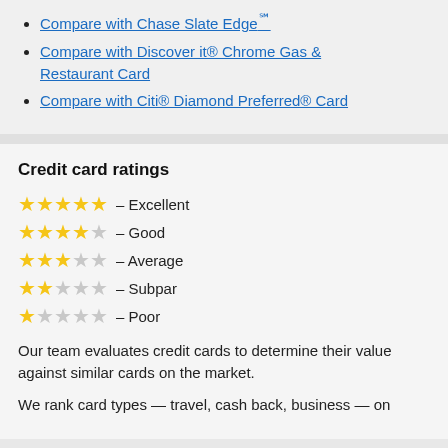Compare with Chase Slate Edge℠
Compare with Discover it® Chrome Gas & Restaurant Card
Compare with Citi® Diamond Preferred® Card
Credit card ratings
★★★★★ — Excellent
★★★★☆ — Good
★★★☆☆ — Average
★★☆☆☆ — Subpar
★☆☆☆☆ — Poor
Our team evaluates credit cards to determine their value against similar cards on the market.
We rank card types — travel, cash back, business — on